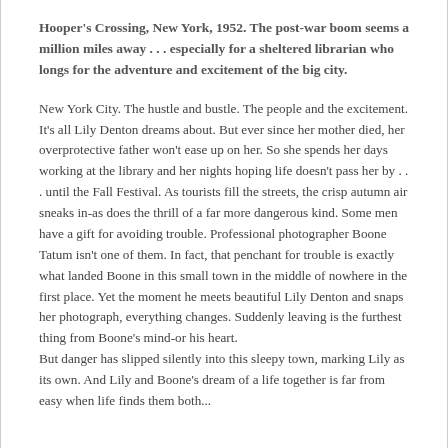Hooper's Crossing, New York, 1952. The post-war boom seems a million miles away . . . especially for a sheltered librarian who longs for the adventure and excitement of the big city.
New York City. The hustle and bustle. The people and the excitement. It's all Lily Denton dreams about. But ever since her mother died, her overprotective father won't ease up on her. So she spends her days working at the library and her nights hoping life doesn't pass her by . . . until the Fall Festival. As tourists fill the streets, the crisp autumn air sneaks in-as does the thrill of a far more dangerous kind. Some men have a gift for avoiding trouble. Professional photographer Boone Tatum isn't one of them. In fact, that penchant for trouble is exactly what landed Boone in this small town in the middle of nowhere in the first place. Yet the moment he meets beautiful Lily Denton and snaps her photograph, everything changes. Suddenly leaving is the furthest thing from Boone's mind-or his heart. But danger has slipped silently into this sleepy town, marking Lily as its own. And Lily and Boone's dream of a life together is far from easy when life finds them both...